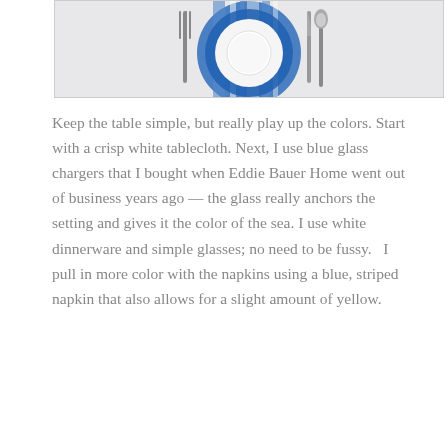[Figure (photo): Overhead view of a table setting with a white bowl on a blue glass charger plate, white tablecloth, fork on the left, knife and spoon on the right, and a blue and white striped napkin under the plates.]
Keep the table simple, but really play up the colors. Start with a crisp white tablecloth. Next, I use blue glass chargers that I bought when Eddie Bauer Home went out of business years ago — the glass really anchors the setting and gives it the color of the sea. I use white dinnerware and simple glasses; no need to be fussy.   I pull in more color with the napkins using a blue, striped napkin that also allows for a slight amount of yellow.